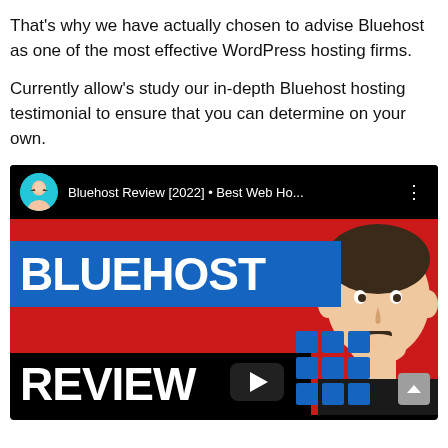That's why we have actually chosen to advise Bluehost as one of the most effective WordPress hosting firms.
Currently allow's study our in-depth Bluehost hosting testimonial to ensure that you can determine on your own.
[Figure (screenshot): YouTube video thumbnail for 'Bluehost Review [2022] Best Web Ho...' showing a red background with BLUEHOST text on a blue banner, REVIEW text on a black banner, a play button, blue grid squares, and a man's face on the right side.]